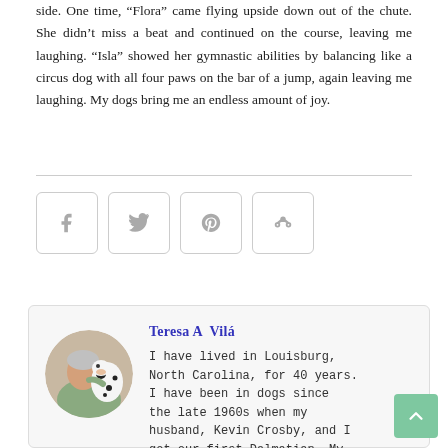side. One time, “Flora” came flying upside down out of the chute. She didn’t miss a beat and continued on the course, leaving me laughing. “Isla” showed her gymnastic abilities by balancing like a circus dog with all four paws on the bar of a jump, again leaving me laughing. My dogs bring me an endless amount of joy.
[Figure (other): Social share buttons: Facebook, Twitter, Pinterest, Share]
[Figure (photo): Circular photo of Teresa A Vila hugging a Dalmatian dog]
Teresa A Vilá
I have lived in Louisburg, North Carolina, for 40 years. I have been in dogs since the late 1960s when my husband, Kevin Crosby, and I got our first Dalmatian. My kennel name is Libertad De